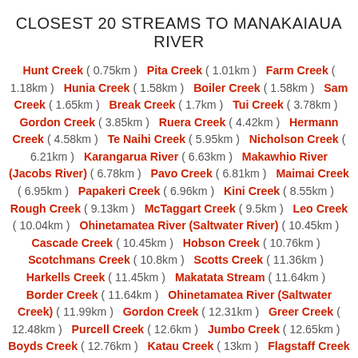CLOSEST 20 STREAMS TO MANAKAIAUA RIVER
Hunt Creek ( 0.75km )  Pita Creek ( 1.01km )  Farm Creek ( 1.18km )  Hunia Creek ( 1.58km )  Boiler Creek ( 1.58km )  Sam Creek ( 1.65km )  Break Creek ( 1.7km )  Tui Creek ( 3.78km )  Gordon Creek ( 3.85km )  Ruera Creek ( 4.42km )  Hermann Creek ( 4.58km )  Te Naihi Creek ( 5.95km )  Nicholson Creek ( 6.21km )  Karangarua River ( 6.63km )  Makawhio River (Jacobs River) ( 6.78km )  Pavo Creek ( 6.81km )  Maimai Creek ( 6.95km )  Papakeri Creek ( 6.96km )  Kini Creek ( 8.55km )  Rough Creek ( 9.13km )  McTaggart Creek ( 9.5km )  Leo Creek ( 10.04km )  Ohinetamatea River (Saltwater River) ( 10.45km )  Cascade Creek ( 10.45km )  Hobson Creek ( 10.76km )  Scotchmans Creek ( 10.8km )  Scotts Creek ( 11.36km )  Harkells Creek ( 11.45km )  Makatata Stream ( 11.64km )  Border Creek ( 11.64km )  Ohinetamatea River (Saltwater Creek) ( 11.99km )  Gordon Creek ( 12.31km )  Greer Creek ( 12.48km )  Purcell Creek ( 12.6km )  Jumbo Creek ( 12.65km )  Boyds Creek ( 12.76km )  Katau Creek ( 13km )  Flagstaff Creek ( 13.23km )  Havelock Creek ( 13.35km )  Bunker Creek ( 13.36km )